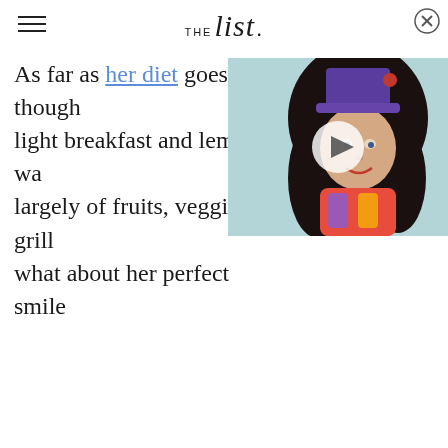THE list
As far as her diet goes, though light breakfast and lemon wa largely of fruits, veggies, grill what about her perfect smile
[Figure (screenshot): Video overlay thumbnail showing a person in a purple top hat with curly dark hair, wearing a colorful costume, with a play button in the center. Background is a floral/teal pattern.]